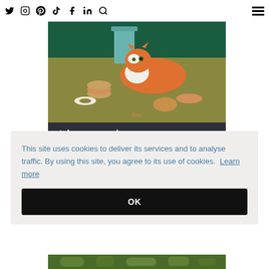Twitter Instagram Pinterest TikTok Facebook LinkedIn Search [hamburger menu]
[Figure (photo): Etsy advertisement photo showing an orange and white cat lying on an olive-green table surrounded by baked goods (donuts, pastries, croissants) with a teal glass vase in the background and dark green curtains. 'Etsy' branding in orange italic text at bottom.]
style your garden with our furniture
This site uses cookies to deliver its services and to analyse traffic. By using this site, you agree to its use of cookies. Learn more
OK
[Figure (photo): Bottom strip showing partial garden/nature image in green tones]